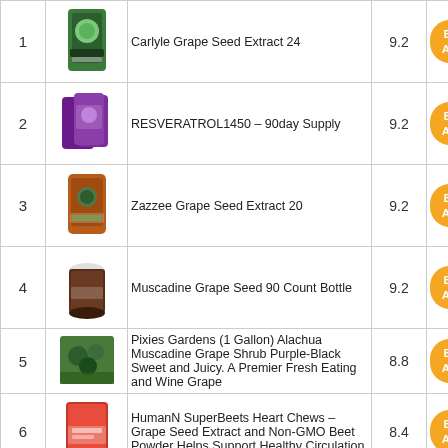| # | Image | Product | Score | Link |
| --- | --- | --- | --- | --- |
| 1 | [img] | Carlyle Grape Seed Extract 24 | 9.2 | Buy On Amazon |
| 2 | [img] | RESVERATROL1450 – 90day Supply | 9.2 | Buy On Amazon |
| 3 | [img] | Zazzee Grape Seed Extract 20 | 9.2 | Buy On Amazon |
| 4 | [img] | Muscadine Grape Seed 90 Count Bottle | 9.2 | Buy On Amazon |
| 5 | [img] | Pixies Gardens (1 Gallon) Alachua Muscadine Grape Shrub Purple-Black Sweet and Juicy. A Premier Fresh Eating and Wine Grape | 8.8 | Buy On Amazon |
| 6 | [img] | HumanN SuperBeets Heart Chews – Grape Seed Extract and Non-GMO Beet Powder Helps Support Healthy Circulation | 8.4 | Buy On Amazon |
| 7 | [img] | Sabudo Sea Grapes, King Umibudo | 8.4 | Buy On Amazon |